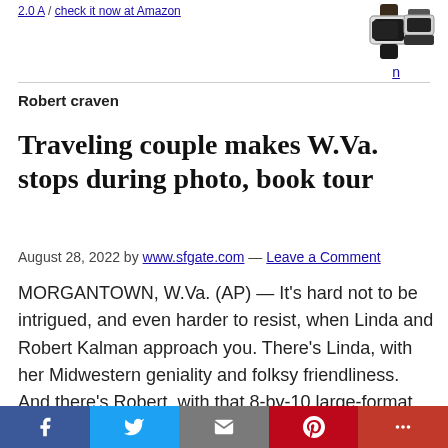2.0 A / check it now at Amazon  n
Robert craven
Traveling couple makes W.Va. stops during photo, book tour
August 28, 2022 by www.sfgate.com — Leave a Comment
MORGANTOWN, W.Va. (AP) — It's hard not to be intrigued, and even harder to resist, when Linda and Robert Kalman approach you. There's Linda, with her Midwestern geniality and folksy friendliness. And there's Robert, with that 8-by-10 large-format
f  [Twitter]  [Email]  [Pinterest]  +